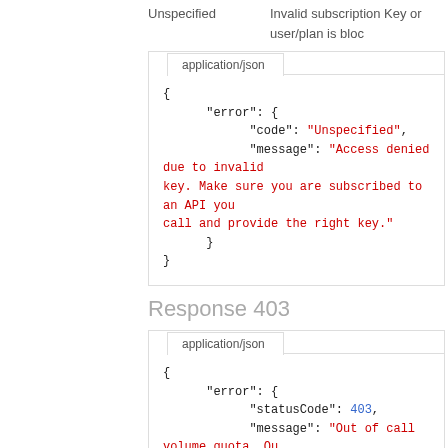Unspecified    Invalid subscription Key or user/plan is blocked
[Figure (screenshot): Code box showing application/json tab with JSON error response: { "error": { "code": "Unspecified", "message": "Access denied due to invalid key. Make sure you are subscribed to an API you call and provide the right key." } }]
Response 403
[Figure (screenshot): Code box showing application/json tab with JSON error response: { "error": { "statusCode": 403, "message": "Out of call volume quota. Quota will be replenished in 2 days." } }]